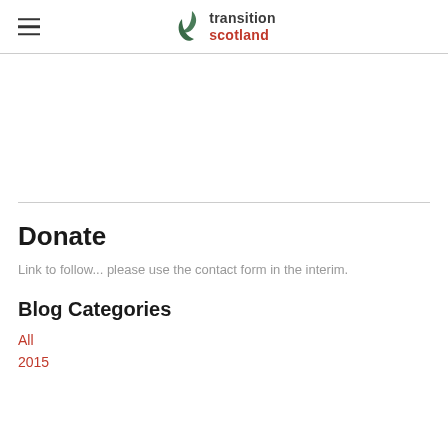transition scotland
Donate
Link to follow... please use the contact form in the interim.
Blog Categories
All
2015